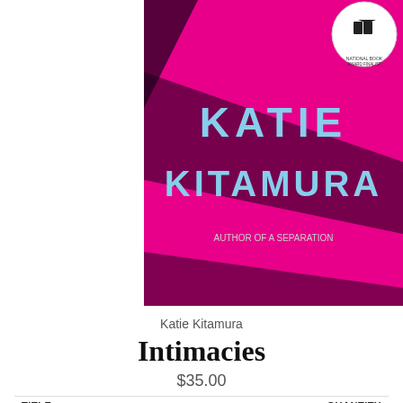[Figure (photo): Book cover of Intimacies by Katie Kitamura. Bright magenta/pink background with bold light blue text reading KATIE KITAMURA. A white circular award badge/seal is visible in the top right corner. Diagonal black graphic elements cross the cover.]
Katie Kitamura
Intimacies
$35.00
| TITLE | QUANTITY |
| --- | --- |